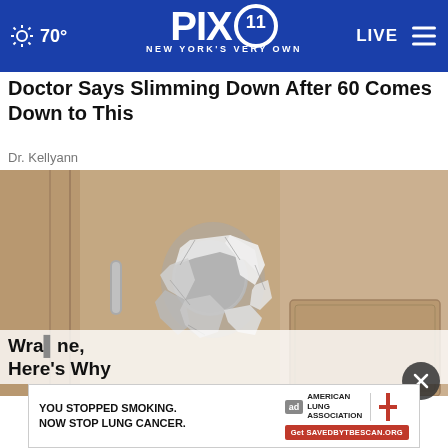PIX11 NEW YORK'S VERY OWN — 70° — LIVE
Doctor Says Slimming Down After 60 Comes Down to This
Dr. Kellyann
[Figure (photo): A door knob wrapped in aluminum foil, close-up photo]
[Figure (other): Advertisement: YOU STOPPED SMOKING. NOW STOP LUNG CANCER. American Lung Association. Get SAVEDBYBESCAN.ORG]
Wrap... ...ne, Here's Why